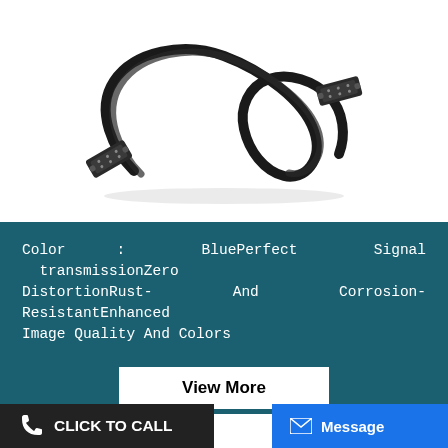[Figure (photo): Black VGA cable with two male DB-15 connectors on each end, coiled/looped on a white background]
Color : BluePerfect Signal transmissionZero DistortionRust- And Corrosion-ResistantEnhanced Image Quality And Colors
View More
CLICK TO CALL
Message